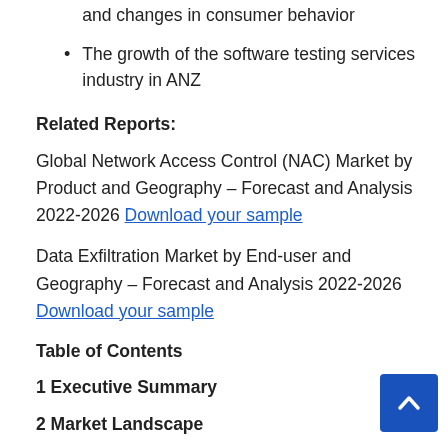and changes in consumer behavior
The growth of the software testing services industry in ANZ
Related Reports:
Global Network Access Control (NAC) Market by Product and Geography – Forecast and Analysis 2022-2026 Download your sample
Data Exfiltration Market by End-user and Geography – Forecast and Analysis 2022-2026 Download your sample
Table of Contents
1 Executive Summary
2 Market Landscape